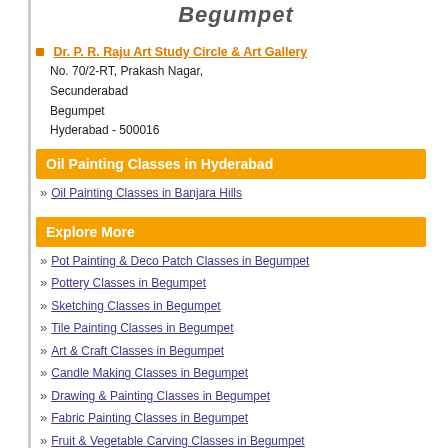Begumpet
Dr. P. R. Raju Art Study Circle & Art Gallery
No. 70/2-RT, Prakash Nagar,
Secunderabad
Begumpet
Hyderabad - 500016
Oil Painting Classes in Hyderabad
Oil Painting Classes in Banjara Hills
Explore More
Pot Painting & Deco Patch Classes in Begumpet
Pottery Classes in Begumpet
Sketching Classes in Begumpet
Tile Painting Classes in Begumpet
Art & Craft Classes in Begumpet
Candle Making Classes in Begumpet
Drawing & Painting Classes in Begumpet
Fabric Painting Classes in Begumpet
Fruit & Vegetable Carving Classes in Begumpet
Glass Painting Classes in Begumpet